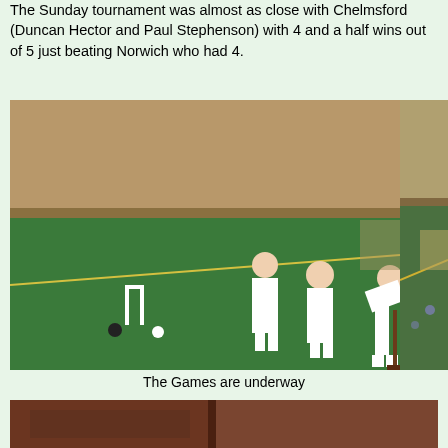The Sunday tournament was almost as close with Chelmsford (Duncan Hector and Paul Stephenson) with 4 and a half wins out of 5 just beating Norwich who had 4.
[Figure (photo): Indoor croquet game in progress. Three players dressed in white on a green indoor carpet. One player is bent over taking a shot, one stands watching, and another stands to the right. A croquet hoop and balls are visible on the green surface. Brick wall in background.]
[Figure (photo): Partial view of another indoor croquet court, showing players in the background near a wall.]
The Games are underway
[Figure (photo): Partially visible photo at bottom of page showing what appears to be wooden panels or furniture in a dark interior setting.]